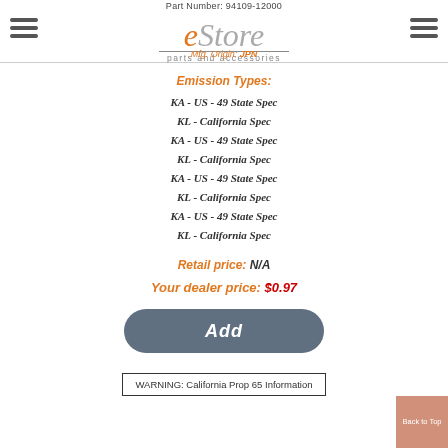Part Number: 94109-12000
[Figure (logo): eStore parts and accessories logo with 'Mfg. Origin: JPN' text overlay]
Emission Types:
KA - US - 49 State Spec
KL - California Spec
KA - US - 49 State Spec
KL - California Spec
KA - US - 49 State Spec
KL - California Spec
KA - US - 49 State Spec
KL - California Spec
Retail price: N/A
Your dealer price: $0.97
Add
WARNING: California Prop 65 Information